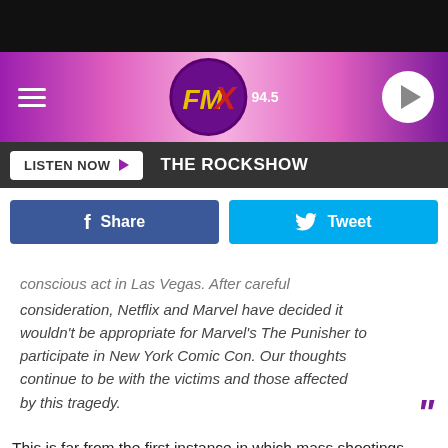[Figure (logo): FMX 94.5 radio station header banner with hamburger menu, FMX logo in purple circle, and play button]
LISTEN NOW ▶  THE ROCKSHOW
[Figure (infographic): Facebook Share button and Twitter Tweet button]
conscious act in Las Vegas. After careful consideration, Netflix and Marvel have decided it wouldn't be appropriate for Marvel's The Punisher to participate in New York Comic Con. Our thoughts continue to be with the victims and those affected by this tragedy. "
This is far from the first instance in which mass shootings have dictated premiere delays, as recent years saw Mr. Robot, The Last Ship and USA's Shooter all postponing